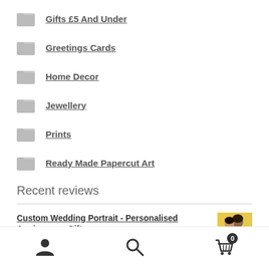Gifts £5 And Under
Greetings Cards
Home Decor
Jewellery
Prints
Ready Made Papercut Art
Recent reviews
Custom Wedding Portrait - Personalised Anniversary Gift
[Figure (photo): Thumbnail image of a couple for a custom wedding portrait product]
★★★★★ (5 stars rating)